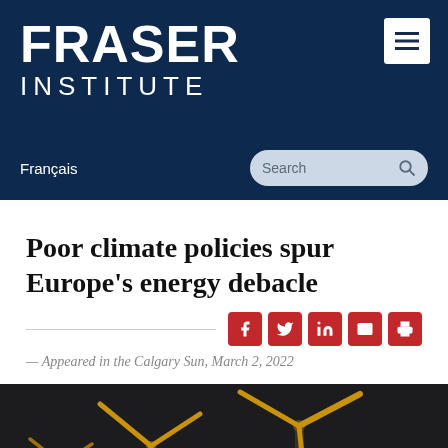[Figure (logo): Fraser Institute logo — white bold text 'FRASER' above 'INSTITUTE' on dark navy background]
Français
Search
Poor climate policies spur Europe's energy debacle
— Appeared in the Calgary Sun, March 2, 2022
[Figure (photo): Wind turbines photographed at night with dark background and golden/orange blades illuminated]